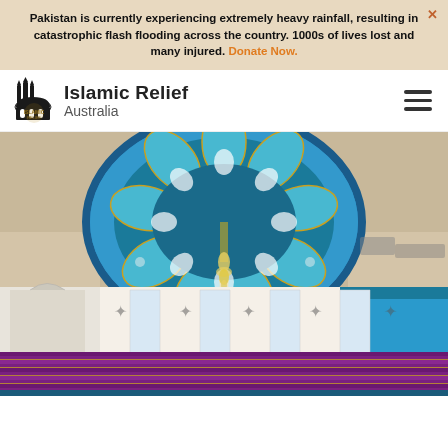Pakistan is currently experiencing extremely heavy rainfall, resulting in catastrophic flash flooding across the country. 1000s of lives lost and many injured. Donate Now.
[Figure (logo): Islamic Relief Australia logo with mosque silhouette icon and text]
[Figure (photo): Interior of a mosque showing an ornate blue and teal domed ceiling with a crystal chandelier, white walls with arched windows and decorative patterns, purple and gold prayer carpet on the floor]